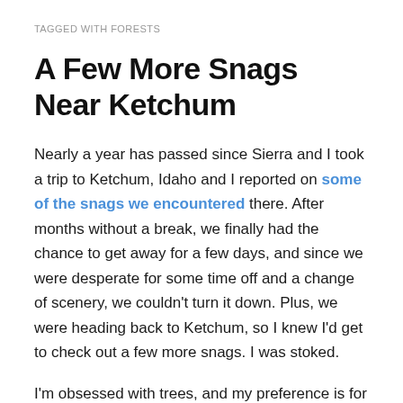TAGGED WITH FORESTS
A Few More Snags Near Ketchum
Nearly a year has passed since Sierra and I took a trip to Ketchum, Idaho and I reported on some of the snags we encountered there. After months without a break, we finally had the chance to get away for a few days, and since we were desperate for some time off and a change of scenery, we couldn't turn it down. Plus, we were heading back to Ketchum, so I knew I'd get to check out a few more snags. I was stoked.
I'm obsessed with trees, and my preference is for live ones (generally speaking), but dead trees are certainly gaining in popularity. After all, a dead tree isn't truly dead.